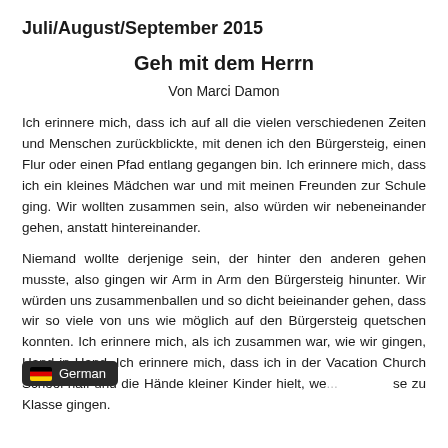Juli/August/September 2015
Geh mit dem Herrn
Von Marci Damon
Ich erinnere mich, dass ich auf all die vielen verschiedenen Zeiten und Menschen zurückblickte, mit denen ich den Bürgersteig, einen Flur oder einen Pfad entlang gegangen bin. Ich erinnere mich, dass ich ein kleines Mädchen war und mit meinen Freunden zur Schule ging. Wir wollten zusammen sein, also würden wir nebeneinander gehen, anstatt hintereinander.
Niemand wollte derjenige sein, der hinter den anderen gehen musste, also gingen wir Arm in Arm den Bürgersteig hinunter. Wir würden uns zusammenballen und so dicht beieinander gehen, dass wir so viele von uns wie möglich auf den Bürgersteig quetschen konnten. Ich erinnere mich, als ich zusammen war, wie wir gingen, Hand in Hand. Ich erinnere mich, dass ich in der Vacation Church School half und die Hände kleiner Kinder hielt, we... se zu Klasse gingen.